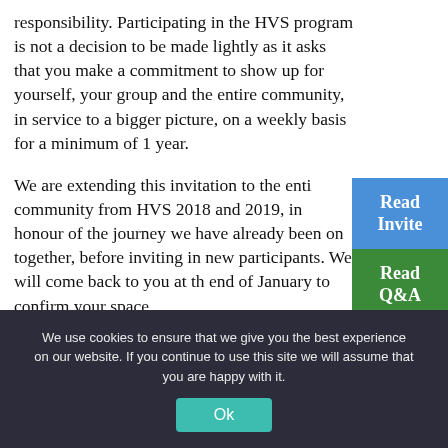responsibility. Participating in the HVS program is not a decision to be made lightly as it asks that you make a commitment to show up for yourself, your group and the entire community, in service to a bigger picture, on a weekly basis for a minimum of 1 year.
We are extending this invitation to the entire community from HVS 2018 and 2019, in honour of the journey we have already been on together, before inviting in new participants. We will come back to you at the end of January to confirm your space.
[Figure (other): Three stacked call-to-action buttons: 'Read Invite' (blue), 'Read Q&A' (green), 'RSVP Here' (red)]
We use cookies to ensure that we give you the best experience on our website. If you continue to use this site we will assume that you are happy with it.